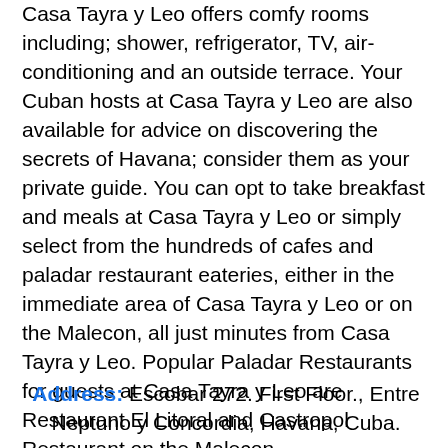Casa Tayra y Leo offers comfy rooms including; shower, refrigerator, TV, air-conditioning and an outside terrace. Your Cuban hosts at Casa Tayra y Leo are also available for advice on discovering the secrets of Havana; consider them as your private guide. You can opt to take breakfast and meals at Casa Tayra y Leo or simply select from the hundreds of cafes and paladar restaurant eateries, either in the immediate area of Casa Tayra y Leo or on the Malecon, all just minutes from Casa Tayra y Leo. Popular Paladar Restaurants for guests at Casa Tayra y Leo are Restaurant El Litoral and Castropol Restaurant on the Malecon.
Address: Escobar 272. First Floor., Entre Neptuno y Concordia, Havana, Cuba.